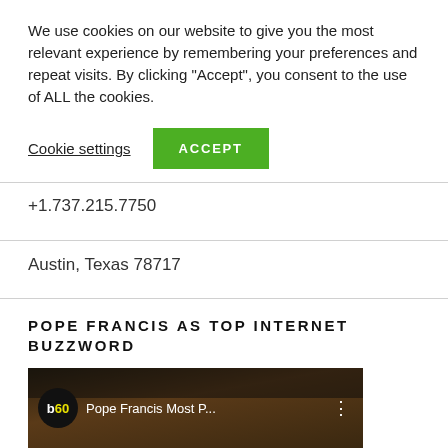We use cookies on our website to give you the most relevant experience by remembering your preferences and repeat visits. By clicking “Accept”, you consent to the use of ALL the cookies.
Cookie settings
ACCEPT
+1.737.215.7750
Austin, Texas 78717
POPE FRANCIS AS TOP INTERNET BUZZWORD
[Figure (screenshot): Video thumbnail showing b60 logo and title 'Pope Francis Most P...' with a menu icon, overlaid on a dark image of a person.]